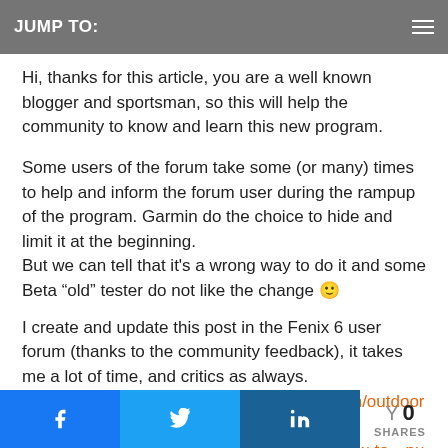JUMP TO:
Hi, thanks for this article, you are a well known blogger and sportsman, so this will help the community to know and learn this new program.
Some users of the forum take some (or many) times to help and inform the forum user during the rampup of the program. Garmin do the choice to hide and limit it at the beginning.
But we can tell that it's a wrong way to do it and some Beta “old” tester do not like the change 🙂
I create and update this post in the Fenix 6 user forum (thanks to the community feedback), it takes me a lot of time, and critics as always.
https://forums.garmin.com/outdoor-recreation/outdoor-recreation/f/fenix-6-series/293167/garmin-how-to—public-beta-
0 SHARES